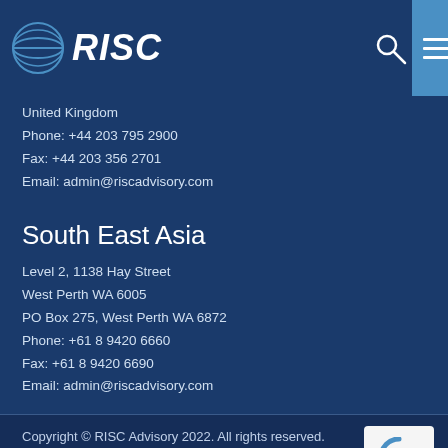RISC
United Kingdom
Phone: +44 203 795 2900
Fax: +44 203 356 2701
Email: admin@riscadvisory.com
South East Asia
Level 2, 1138 Hay Street
West Perth WA 6005
PO Box 275, West Perth WA 6872
Phone: +61 8 9420 6660
Fax: +61 8 9420 6690
Email: admin@riscadvisory.com
Copyright © RISC Advisory 2022. All rights reserved.
> Sitemap
A Meta Creative Site